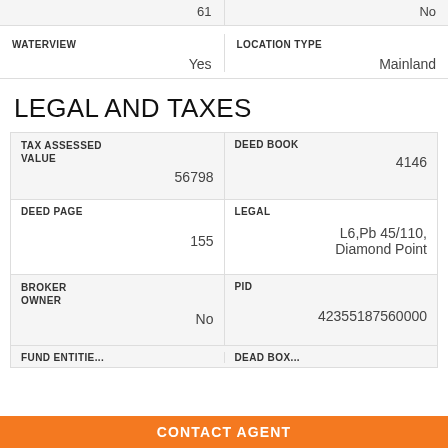|  |  |
| --- | --- |
| 61 | No |
| WATERVIEW | LOCATION TYPE |
| --- | --- |
| Yes | Mainland |
LEGAL AND TAXES
| TAX ASSESSED VALUE | DEED BOOK |
| --- | --- |
| 56798 | 4146 |
| DEED PAGE | LEGAL |
| --- | --- |
| 155 | L6,Pb 45/110, Diamond Point |
| BROKER OWNER | PID |
| --- | --- |
| No | 42355187560000 |
CONTACT AGENT